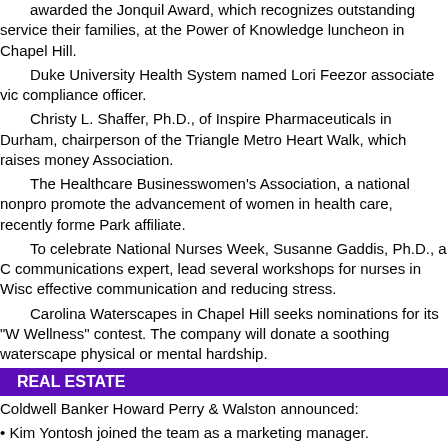awarded the Jonquil Award, which recognizes outstanding service their families, at the Power of Knowledge luncheon in Chapel Hill.
Duke University Health System named Lori Feezor associate vice compliance officer.
Christy L. Shaffer, Ph.D., of Inspire Pharmaceuticals in Durham, chairperson of the Triangle Metro Heart Walk, which raises money Association.
The Healthcare Businesswomen's Association, a national nonprofit promote the advancement of women in health care, recently formed Park affiliate.
To celebrate National Nurses Week, Susanne Gaddis, Ph.D., a communications expert, lead several workshops for nurses in Wisconsin effective communication and reducing stress.
Carolina Waterscapes in Chapel Hill seeks nominations for its "W Wellness" contest. The company will donate a soothing waterscape physical or mental hardship.
REAL ESTATE
Coldwell Banker Howard Perry & Walston announced:
• Kim Yontosh joined the team as a marketing manager.
• Ashley Wilson was selected as sales agent for Heritage Wake Fo
• Mary-Katherine Smith joined the sales team at the Cary Kildaire P